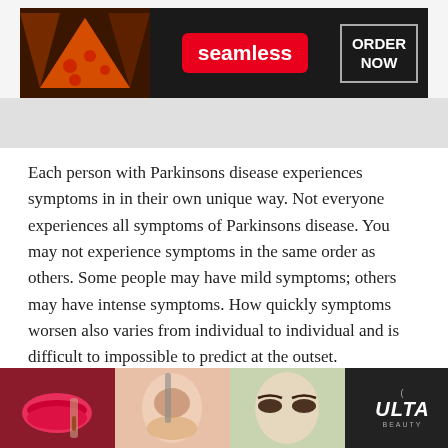[Figure (screenshot): Seamless food delivery advertisement banner with pizza image on left, red Seamless logo in center, and 'ORDER NOW' button on right against dark background]
Each person with Parkinsons disease experiences symptoms in in their own unique way. Not everyone experiences all symptoms of Parkinsons disease. You may not experience symptoms in the same order as others. Some people may have mild symptoms; others may have intense symptoms. How quickly symptoms worsen also varies from individual to individual and is difficult to impossible to predict at the outset.
In general, the disease progresses from early stage to mid-stage to mid-late-stage to advanced stage. This t typical
[Figure (screenshot): Ulta Beauty advertisement banner showing close-up images of makeup looks and faces, with Ulta logo and 'SHOP NOW' button, and a 'CLOSE' button overlay]